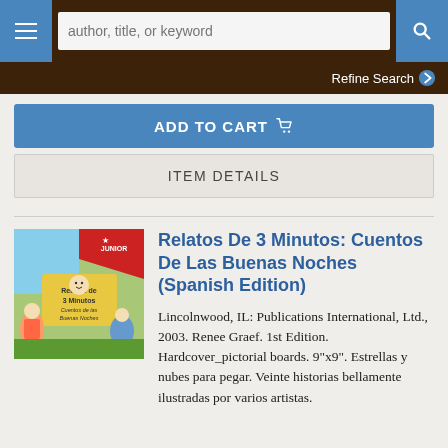[Figure (screenshot): Navigation bar with hamburger menu, search input placeholder 'author, title, or keyword', and search button]
Refine Search
ADD TO CART
ITEM DETAILS
[Figure (photo): Book cover of Relatos De 3 Minutos: Cuentos De Las Buenas Noches, showing illustrated fairy tale scenes]
Relatos De 3 Minutos: Cuentos De Las Buenas Noches (Spanish Edition)
Lincolnwood, IL: Publications International, Ltd., 2003. Renee Graef. 1st Edition. Hardcover_pictorial boards. 9"x9". Estrellas y nubes para pegar. Veinte historias bellamente ilustradas por varios artistas.